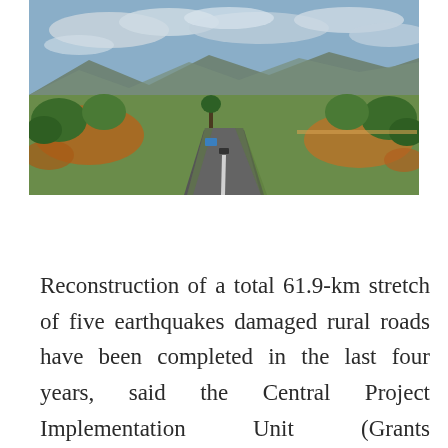[Figure (photo): Aerial panoramic photo of a winding two-lane rural road with green trees and shrubs on both sides, red-orange soil visible, blue sky with clouds, and mountains in the distant background.]
Reconstruction of a total 61.9-km stretch of five earthquakes damaged rural roads have been completed in the last four years, said the Central Project Implementation Unit (Grants Management and Local Infrastructure). The reconstructed has been so far